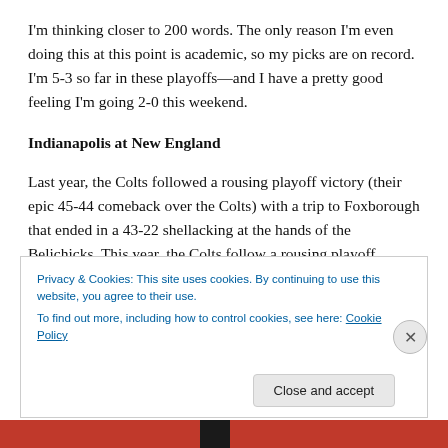I'm thinking closer to 200 words. The only reason I'm even doing this at this point is academic, so my picks are on record. I'm 5-3 so far in these playoffs—and I have a pretty good feeling I'm going 2-0 this weekend.
Indianapolis at New England
Last year, the Colts followed a rousing playoff victory (their epic 45-44 comeback over the Colts) with a trip to Foxborough that ended in a 43-22 shellacking at the hands of the Belichicks. This year, the Colts follow a rousing playoff victory (the 24-13 win in Denver that sure
Privacy & Cookies: This site uses cookies. By continuing to use this website, you agree to their use.
To find out more, including how to control cookies, see here: Cookie Policy